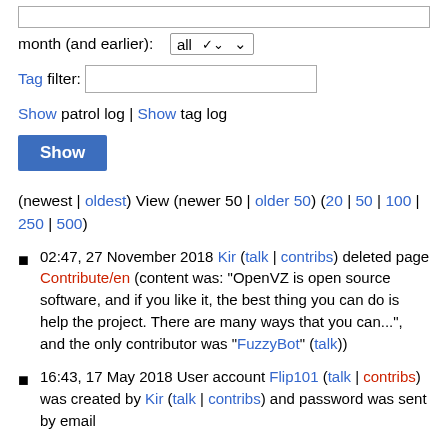month (and earlier):  all ▾
Tag filter:
Show patrol log | Show tag log
Show
(newest | oldest) View (newer 50 | older 50) (20 | 50 | 100 | 250 | 500)
02:47, 27 November 2018 Kir (talk | contribs) deleted page Contribute/en (content was: "OpenVZ is open source software, and if you like it, the best thing you can do is help the project. There are many ways that you can...", and the only contributor was "FuzzyBot" (talk))
16:43, 17 May 2018 User account Flip101 (talk | contribs) was created by Kir (talk | contribs) and password was sent by email